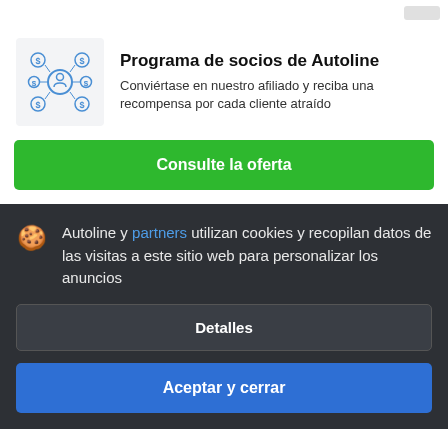[Figure (illustration): Network/affiliate icon showing a central figure connected to dollar-sign nodes]
Programa de socios de Autoline
Conviértase en nuestro afiliado y reciba una recompensa por cada cliente atraído
Consulte la oferta
Autoline y partners utilizan cookies y recopilan datos de las visitas a este sitio web para personalizar los anuncios
Detalles
Aceptar y cerrar